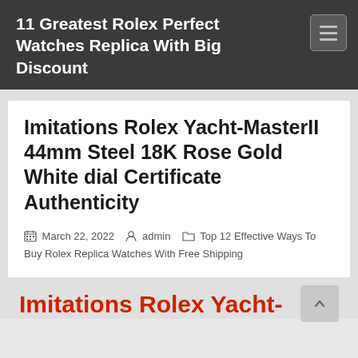11 Greatest Rolex Perfect Watches Replica With Big Discount
Imitations Rolex Yacht-MasterII 44mm Steel 18K Rose Gold White dial Certificate Authenticity
March 22, 2022  admin  Top 12 Effective Ways To Buy Rolex Replica Watches With Free Shipping
Imitations Rolex Yacht-